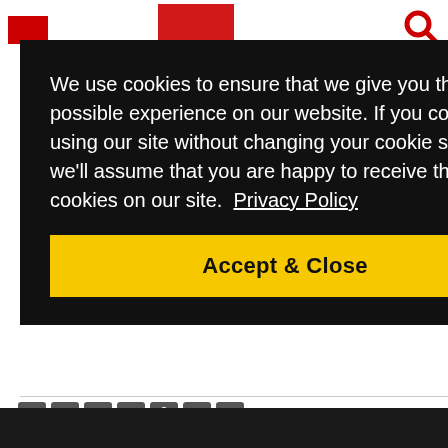We use cookies to ensure that we give you the best possible experience on our website. If you continue using our site without changing your cookie settings, we'll assume that you are happy to receive the cookies on our site.  Privacy Policy
Accept & Close
LEARN MORE